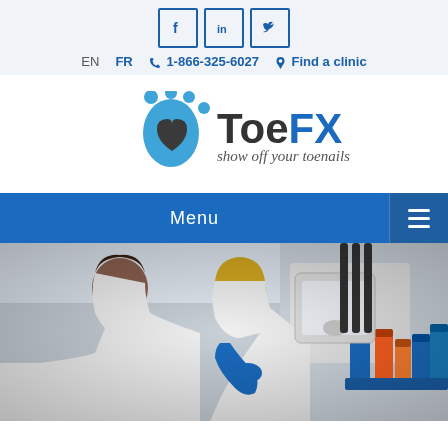[Figure (screenshot): Website header with social media icons (Facebook, LinkedIn, Twitter), language toggle (EN/FR), phone number 1-866-325-6027, and Find a clinic link]
[Figure (logo): ToeFX logo with blue paw print icon, dark heart shape, and tagline 'show off your toenails']
Menu
[Figure (photo): Two female scientists or lab technicians in white coats and blue gloves working in a laboratory with colorful lab reagent bottles and equipment]